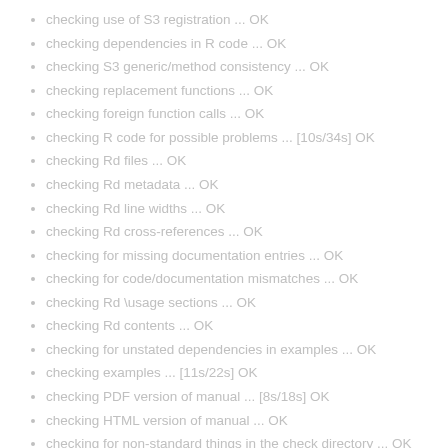checking use of S3 registration ... OK
checking dependencies in R code ... OK
checking S3 generic/method consistency ... OK
checking replacement functions ... OK
checking foreign function calls ... OK
checking R code for possible problems ... [10s/34s] OK
checking Rd files ... OK
checking Rd metadata ... OK
checking Rd line widths ... OK
checking Rd cross-references ... OK
checking for missing documentation entries ... OK
checking for code/documentation mismatches ... OK
checking Rd \usage sections ... OK
checking Rd contents ... OK
checking for unstated dependencies in examples ... OK
checking examples ... [11s/22s] OK
checking PDF version of manual ... [8s/18s] OK
checking HTML version of manual ... OK
checking for non-standard things in the check directory ... OK
checking for detritus in the temp directory ... OK
DONE
Status: OK